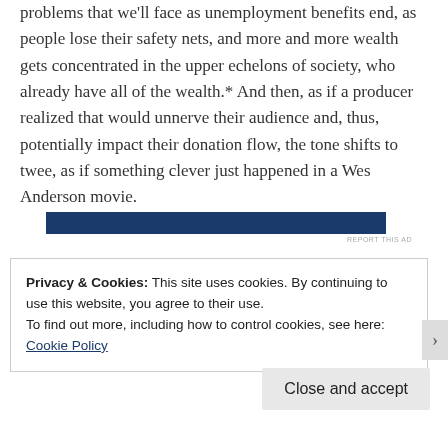problems that we'll face as unemployment benefits end, as people lose their safety nets, and more and more wealth gets concentrated in the upper echelons of society, who already have all of the wealth.* And then, as if a producer realized that would unnerve their audience and, thus, potentially impact their donation flow, the tone shifts to twee, as if something clever just happened in a Wes Anderson movie.
[Figure (other): Dark blue horizontal advertisement bar]
REPORT THIS AD
Privacy & Cookies: This site uses cookies. By continuing to use this website, you agree to their use. To find out more, including how to control cookies, see here: Cookie Policy
Close and accept